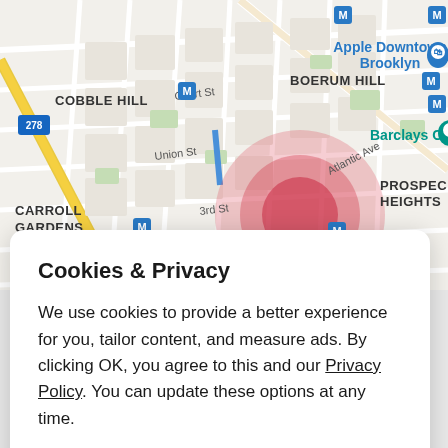[Figure (map): Street map of Brooklyn neighborhoods including Cobble Hill, Boerum Hill, Carroll Gardens, and Prospect Heights. Shows Apple Downtown Brooklyn store, Barclays Center, and several subway stations (M line). A pink/red circular region is highlighted in the center of the map near 3rd St.]
Cookies & Privacy
We use cookies to provide a better experience for you, tailor content, and measure ads. By clicking OK, you agree to this and our Privacy Policy. You can update these options at any time.
Cookie Preferences
OK